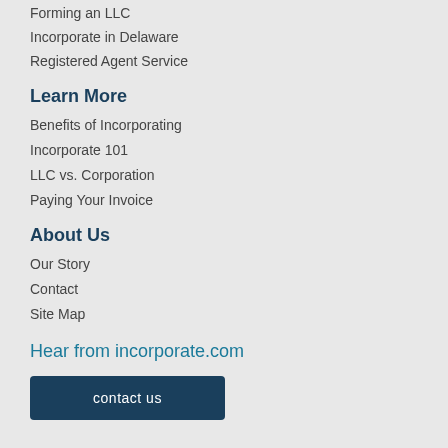Forming an LLC
Incorporate in Delaware
Registered Agent Service
Learn More
Benefits of Incorporating
Incorporate 101
LLC vs. Corporation
Paying Your Invoice
About Us
Our Story
Contact
Site Map
Hear from incorporate.com
contact us